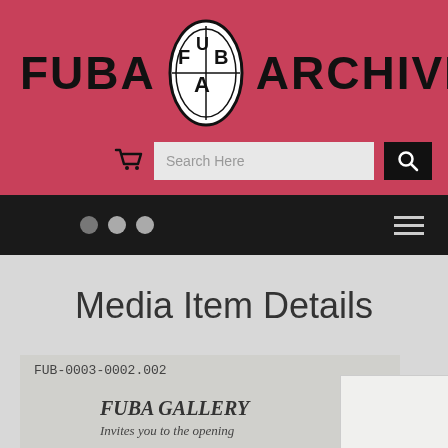[Figure (logo): FUBA ARCHIVE logo with oval emblem containing stylized letters FUB and A, black text on pink/red background]
[Figure (screenshot): Search bar with cart icon, search input field reading 'Search Here', and black search button with magnifying glass icon]
[Figure (screenshot): Black navigation bar with three gray dots (breadcrumb indicators) and hamburger menu icon on right]
Media Item Details
[Figure (photo): Scan of a document showing handwritten ID 'FUB-0003-0002.002' at top, then 'FUBA GALLERY' in italic bold, and 'Invites you to the opening' in italic below, partially cut off at bottom]